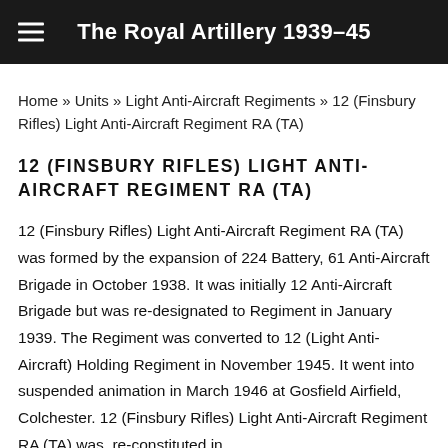The Royal Artillery 1939–45
Home » Units » Light Anti-Aircraft Regiments » 12 (Finsbury Rifles) Light Anti-Aircraft Regiment RA (TA)
12 (FINSBURY RIFLES) LIGHT ANTI-AIRCRAFT REGIMENT RA (TA)
12 (Finsbury Rifles) Light Anti-Aircraft Regiment RA (TA) was formed by the expansion of 224 Battery, 61 Anti-Aircraft Brigade in October 1938. It was initially 12 Anti-Aircraft Brigade but was re-designated to Regiment in January 1939. The Regiment was converted to 12 (Light Anti-Aircraft) Holding Regiment in November 1945. It went into suspended animation in March 1946 at Gosfield Airfield, Colchester. 12 (Finsbury Rifles) Light Anti-Aircraft Regiment RA (TA) was re-constituted in